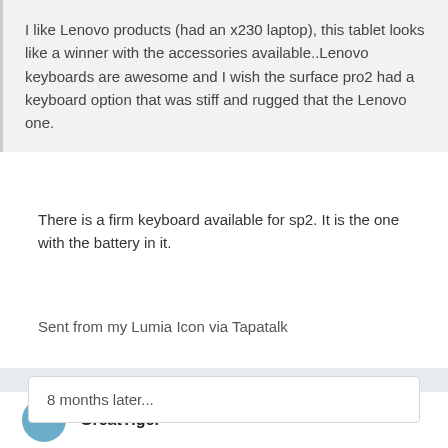I like Lenovo products (had an x230 laptop), this tablet looks like a winner with the accessories available..Lenovo keyboards are awesome and I wish the surface pro2 had a keyboard option that was stiff and rugged that the Lenovo one.
There is a firm keyboard available for sp2. It is the one with the battery in it.
Sent from my Lumia Icon via Tapatalk
8 months later...
GreatTiger